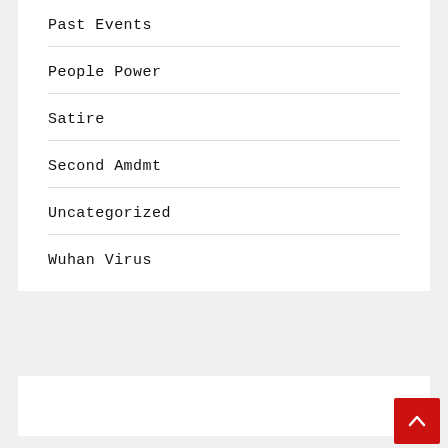Past Events
People Power
Satire
Second Amdmt
Uncategorized
Wuhan Virus
[Figure (other): Back to top scroll button (red square with upward chevron arrow)]